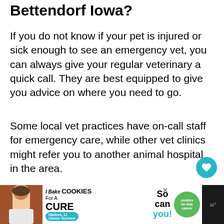Bettendorf Iowa?
If you do not know if your pet is injured or sick enough to see an emergency vet, you can always give your regular veterinary a quick call. They are best equipped to give you advice on where you need to go.
Some local vet practices have on-call staff for emergency care, while other vet clinics might refer you to another animal hospital in the area.
Keep in mind that emergency vets or a
[Figure (other): Advertisement banner: 'I Bake COOKIES For A CURE' with Haidora, 11 Cancer Survivor, and a cookies for kids cancer logo with 'So can you!' text]